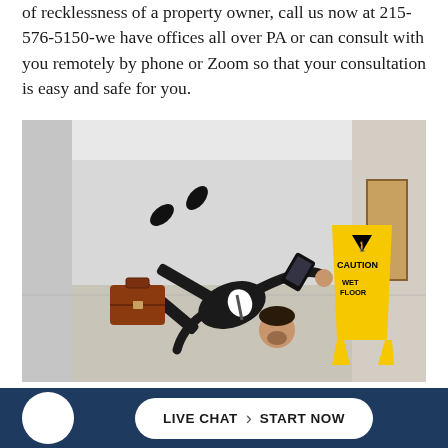of recklessness of a property owner, call us now at 215-576-5150-we have offices all over PA or can consult with you remotely by phone or Zoom so that your consultation is easy and safe for you.
[Figure (photo): A man in a black suit falling on a wet corridor floor, his brown briefcase and phone flying through the air, with a yellow CAUTION WET FLOOR sign visible to his right in a hallway.]
Homeowners can be responsible for accidents caused by
LIVE CHAT › START NOW